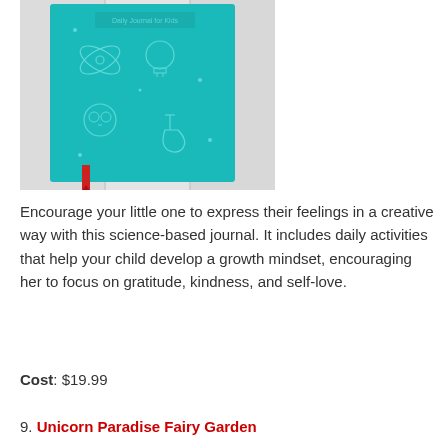[Figure (photo): A teal/turquoise hardcover journal with science-themed doodles on a white wooden background, with a red ribbon bookmark visible at the bottom.]
Encourage your little one to express their feelings in a creative way with this science-based journal. It includes daily activities that help your child develop a growth mindset, encouraging her to focus on gratitude, kindness, and self-love.
Cost: $19.99
9. Unicorn Paradise Fairy Garden